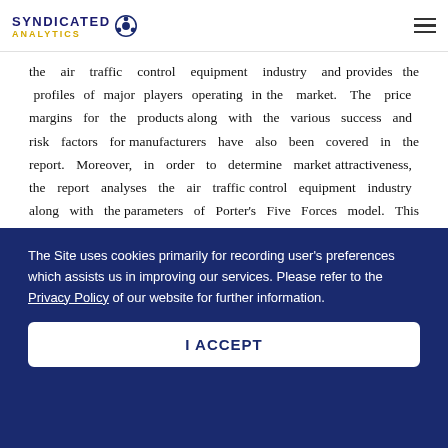SYNDICATED ANALYTICS
the air traffic control equipment industry and provides the profiles of major players operating in the market. The price margins for the products along with the various success and risk factors for manufacturers have also been covered in the report. Moreover, in order to determine market attractiveness, the report analyses the air traffic control equipment industry along with the parameters of Porter’s Five Forces model. This model examines the degree of competition in the air traffic control equipment industry by analyzing
The Site uses cookies primarily for recording user’s preferences which assists us in improving our services. Please refer to the Privacy Policy of our website for further information.
I ACCEPT